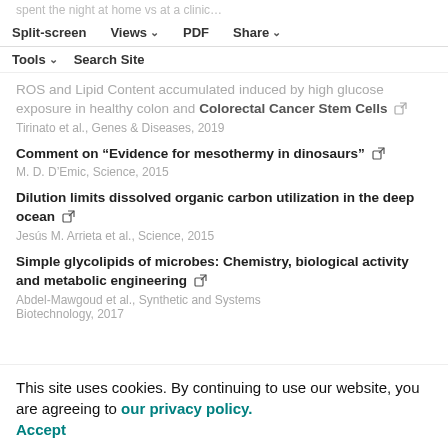spent the night at home vs at a clinic…
Split-screen  Views  PDF  Share
ROS and Lipid Content accumulated induced by high glucose exposure in healthy colon and Colorectal Cancer Stem Cells
Tirinato et al., Genes & Diseases, 2019
Comment on “Evidence for mesothermy in dinosaurs”
M. D. D’Emic, Science, 2015
Dilution limits dissolved organic carbon utilization in the deep ocean
Jesús M. Arrieta et al., Science, 2015
Simple glycolipids of microbes: Chemistry, biological activity and metabolic engineering
Abdel-Mawgoud et al., Synthetic and Systems Biotechnology, 2017
This site uses cookies. By continuing to use our website, you are agreeing to our privacy policy. Accept